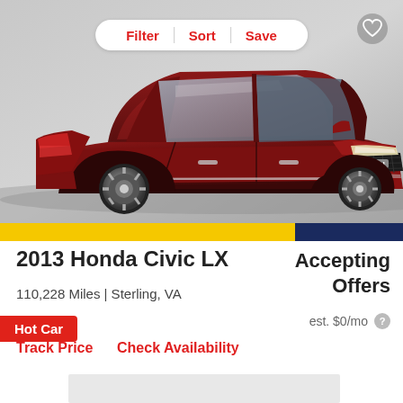[Figure (photo): Dark red/maroon 2013 Honda Civic LX sedan photographed at a slight angle on a gray studio background. A Filter, Sort, Save pill button is overlaid at the top center, a heart/favorite icon is at the top right, and a red 'Hot Car' badge appears at the bottom left of the image. A yellow and navy dealer strip appears at the bottom edge of the photo area.]
2013 Honda Civic LX
110,228 Miles | Sterling, VA
Accepting Offers
est. $0/mo
Track Price
Check Availability